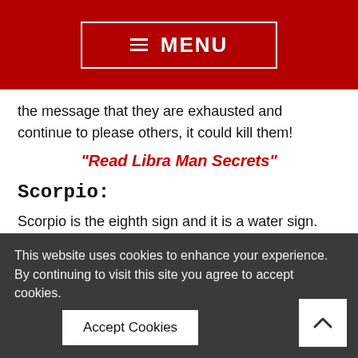≡ MENU
the message that they are exhausted and continue to please others, it could kill them!
"Read Libra Man Secrets"
Scorpio:
Scorpio is the eighth sign and it is a water sign. Those who have this sun sign are extremely passionate and they are also secretive. They are known to be either
This website uses cookies to enhance your experience. By continuing to visit this site you agree to accept cookies. Accept Cookies